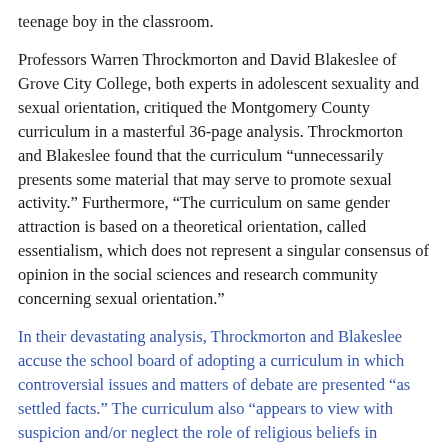teenage boy in the classroom.
Professors Warren Throckmorton and David Blakeslee of Grove City College, both experts in adolescent sexuality and sexual orientation, critiqued the Montgomery County curriculum in a masterful 36-page analysis. Throckmorton and Blakeslee found that the curriculum “unningecessarily presents some material that may serve to promote sexual activity.” Furthermore, “The curriculum on same gender attraction is based on a theoretical orientation, called essentialism, which does not represent a singular consensus of opinion in the social sciences and research community concerning sexual orientation.”
In their devastating analysis, Throckmorton and Blakeslee accuse the school board of adopting a curriculum in which controversial issues and matters of debate are presented “as settled facts.” The curriculum also “appears to view with suspicion and/or neglect the role of religious beliefs in assisting some adolescents to make healthy decisions.”
The sections on sexual orientation and homosexuality came in for intense criticism. Throckmorton and Blakeslee correctly identified the “essentialist assumptions” embedded within the curriculum. These assumptions suggest that sexual orientation is something fixed, whether by genetic predisposition or other factors. This